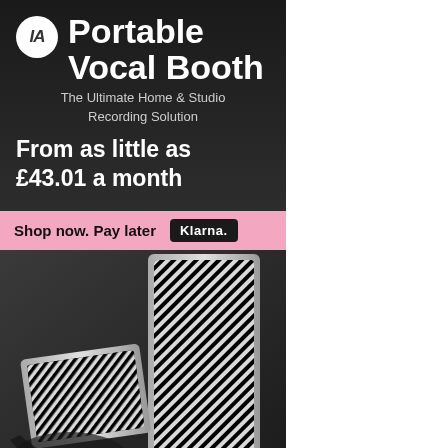[Figure (illustration): Advertisement for IA Portable Vocal Booth. Dark background with white text showing product name, tagline, price offer, and Klarna payment option. Bottom half shows product photo of portable vocal booth with acoustic panels.]
IA Portable Vocal Booth
The Ultimate Home & Studio Recording Solution
From as little as £43.01 a month
Shop now. Pay later  Klarna.